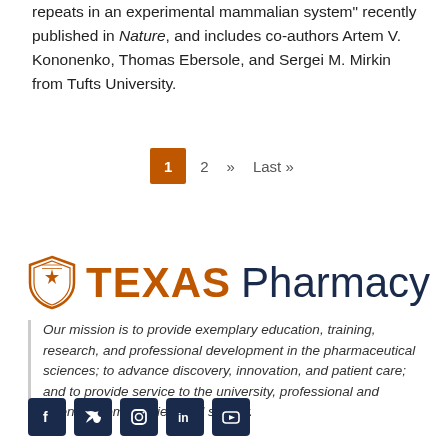repeats in an experimental mammalian system" recently published in Nature, and includes co-authors Artem V. Kononenko, Thomas Ebersole, and Sergei M. Mirkin from Tufts University.
1  2  »  Last »
[Figure (logo): Texas Pharmacy logo with shield icon]
Our mission is to provide exemplary education, training, research, and professional development in the pharmaceutical sciences; to advance discovery, innovation, and patient care; and to provide service to the university, professional and scientific communities, and society.
[Figure (other): Social media icons: Facebook, Twitter, Instagram, LinkedIn, YouTube]